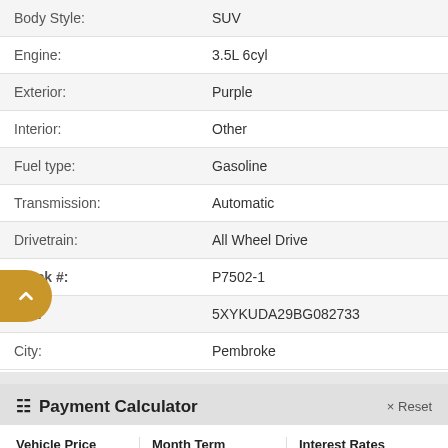| Attribute | Value |
| --- | --- |
| Body Style: | SUV |
| Engine: | 3.5L 6cyl |
| Exterior: | Purple |
| Interior: | Other |
| Fuel type: | Gasoline |
| Transmission: | Automatic |
| Drivetrain: | All Wheel Drive |
| Stock #: | P7502-1 |
| VIN: | 5XYKUDA29BG082733 |
| City: | Pembroke |
Payment Calculator
| Vehicle Price | Month Term | Interest Rates |
| --- | --- | --- |
| $10,997 |  | % |